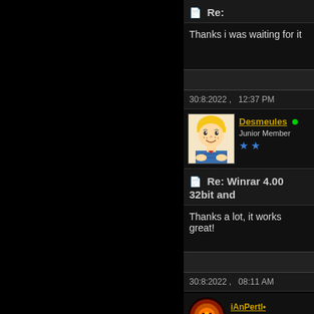Re:
Thanks i was waiting for it
30:8:2022 ,   12:37 PM
[Figure (illustration): User avatar showing a cartoon blond boy with freckles and crossed arms (Dennis the Menace style)]
Desmeules • Junior Member ★★
Re: Winrar 4.00 32bit and
Thanks a lot, it works great!
30:8:2022 ,   08:11 AM
[Figure (photo): Circular avatar showing a user icon with orange/dark tones]